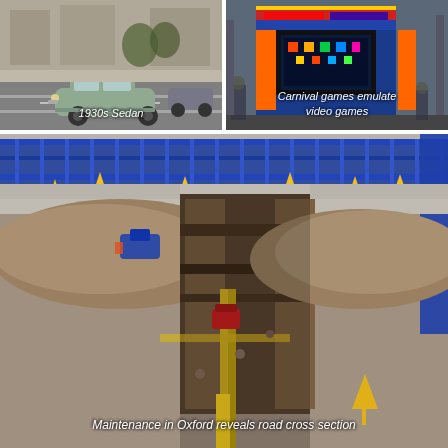[Figure (photo): A 1930s sedan driving on a city road, other cars visible in background. Caption reads '1930s Sedan'.]
[Figure (photo): Colorful carnival game booth resembling video games, people visible in background. Caption reads 'Carnival games emulate video games'.]
[Figure (photo): Road maintenance excavation in Oxford revealing cross-section of road layers with a yellow pipe and blue barriers. Caption reads 'Maintenance in Oxford reveals road cross section'.]